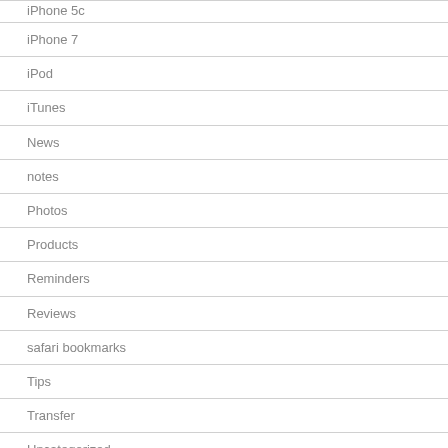iPhone 5c
iPhone 7
iPod
iTunes
News
notes
Photos
Products
Reminders
Reviews
safari bookmarks
Tips
Transfer
Uncategorized